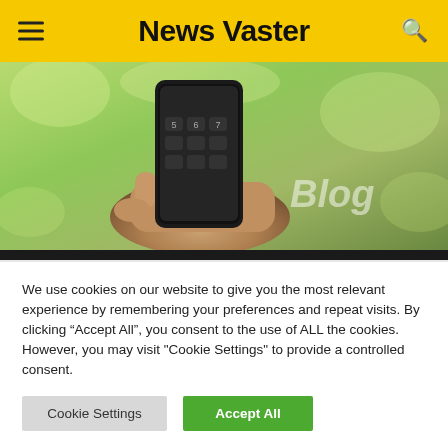News Vaster
[Figure (photo): Hand holding a black smartphone against a blurred green outdoor background, with 'Blog' text overlaid]
ANDROID
Tips on how to Handle and Merge Duplicate Contacts on Android
We use cookies on our website to give you the most relevant experience by remembering your preferences and repeat visits. By clicking “Accept All”, you consent to the use of ALL the cookies. However, you may visit "Cookie Settings" to provide a controlled consent.
Cookie Settings | Accept All